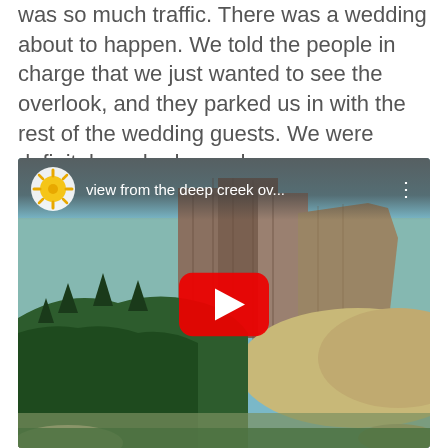was so much traffic. There was a wedding about to happen. We told the people in charge that we just wanted to see the overlook, and they parked us in with the rest of the wedding guests. We were definitely underdressed.
[Figure (screenshot): YouTube video thumbnail showing a canyon overlook landscape with cliffs and forest. Video title reads 'view from the deep creek ov...' with a yellow sun channel logo and a red YouTube play button in the center.]